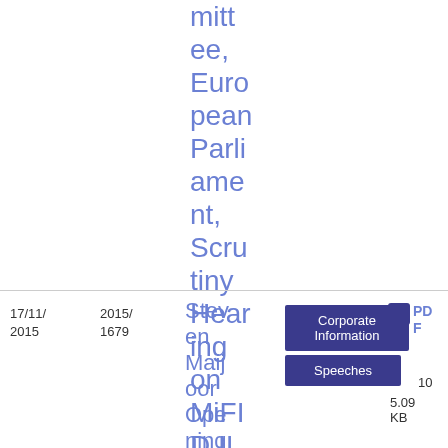mittee, European Parliament, Scrutiny Hearing on MiFID II
17/11/2015
2015/1679
Steven Maijoor Opening Stat
Corporate Information
Speech
Speeches
PDF
10
5.09 KB